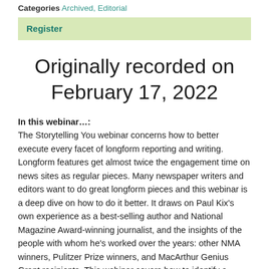Categories Archived, Editorial
Register
Originally recorded on February 17, 2022
In this webinar…:
The Storytelling You webinar concerns how to better execute every facet of longform reporting and writing. Longform features get almost twice the engagement time on news sites as regular pieces. Many newspaper writers and editors want to do great longform pieces and this webinar is a deep dive on how to do it better. It draws on Paul Kix's own experience as a best-selling author and National Magazine Award-winning journalist, and the insights of the people with whom he's worked over the years: other NMA winners, Pulitzer Prize winners, and MacArthur Genius Grant recipients. This webinar covers how to identify a